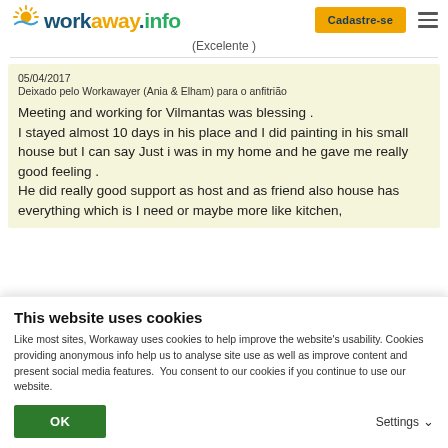workaway.info — Cadastre-se
(Excelente )
05/04/2017
Deixado pelo Workawayer (Ania & Elham) para o anfitrião

Meeting and working for Vilmantas was blessing .
I stayed almost 10 days in his place and I did painting in his small house but I can say Just i was in my home and he gave me really good feeling .
He did really good support as host and as friend also house has everything which is I need or maybe more like kitchen,
This website uses cookies
Like most sites, Workaway uses cookies to help improve the website's usability. Cookies providing anonymous info help us to analyse site use as well as improve content and present social media features.  You consent to our cookies if you continue to use our website.
OK
Settings